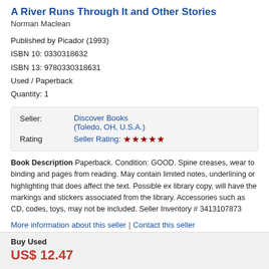A River Runs Through It and Other Stories
Norman Maclean
Published by Picador (1993)
ISBN 10: 0330318632
ISBN 13: 9780330318631
Used / Paperback
Quantity: 1
|  |  |
| --- | --- |
| Seller: | Discover Books
(Toledo, OH, U.S.A.) |
| Rating | Seller Rating: ★★★★★ |
Book Description Paperback. Condition: GOOD. Spine creases, wear to binding and pages from reading. May contain limited notes, underlining or highlighting that does affect the text. Possible ex library copy, will have the markings and stickers associated from the library. Accessories such as CD, codes, toys, may not be included. Seller Inventory # 3413107873
More information about this seller | Contact this seller
Buy Used
US$ 12.47